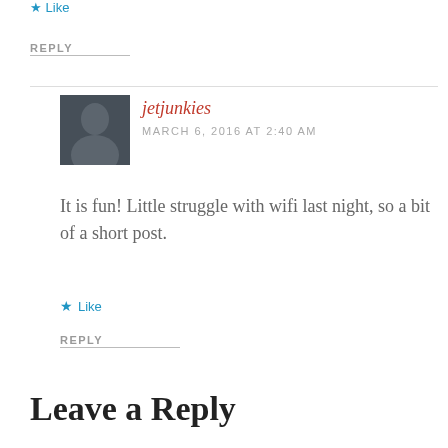★ Like
REPLY
jetjunkies
MARCH 6, 2016 AT 2:40 AM
It is fun! Little struggle with wifi last night, so a bit of a short post.
★ Like
REPLY
Leave a Reply